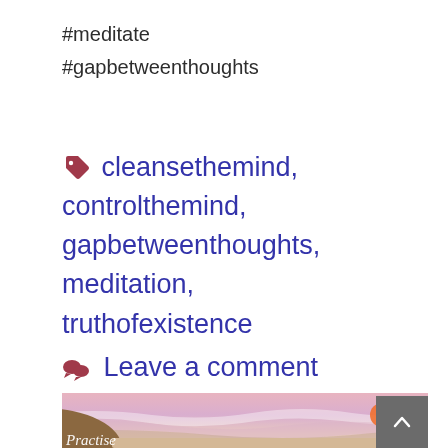#meditate
#gapbetweenthoughts
🏷 cleansethemind, controlthemind, gapbetweenthoughts, meditation, truthofexistence
💬 Leave a comment
[Figure (illustration): Watercolor-style illustration of a serene landscape with pinkish-purple sky, rolling hills, sandy terrain, and an orange sun. White italic text 'Practise' visible at bottom left.]